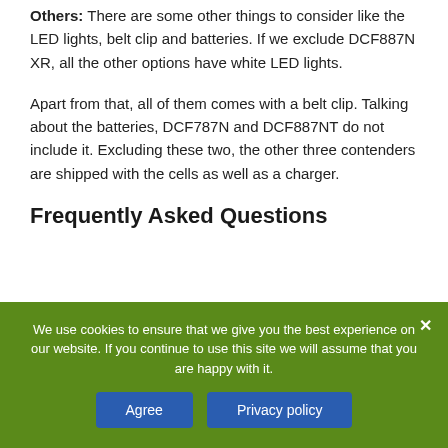Others: There are some other things to consider like the LED lights, belt clip and batteries. If we exclude DCF887N XR, all the other options have white LED lights.
Apart from that, all of them comes with a belt clip. Talking about the batteries, DCF787N and DCF887NT do not include it. Excluding these two, the other three contenders are shipped with the cells as well as a charger.
Frequently Asked Questions
We use cookies to ensure that we give you the best experience on our website. If you continue to use this site we will assume that you are happy with it.